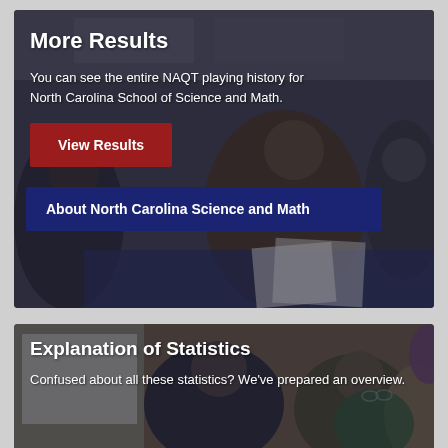[Figure (photo): Students gathered around a table in what appears to be an academic competition or study session, dark background, indoor setting]
More Results
You can see the entire NAQT playing history for North Carolina School of Science and Math.
View Results
About North Carolina Science and Math
[Figure (photo): Students in academic competition or study setting, one wearing a blazer, indoor environment]
Explanation of Statistics
Confused about all these statistics? We've prepared an overview.